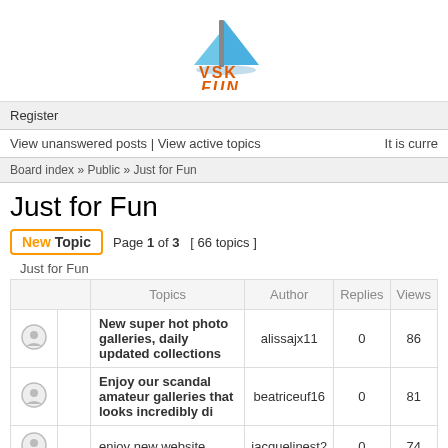[Figure (logo): VSK Fun logo with sailboat icon, blue and orange text]
Register
View unanswered posts | View active topics   It is curre
Board index » Public » Just for Fun
Just for Fun
New Topic   Page 1 of 3  [ 66 topics ]
Just for Fun
|  |  | Topics | Author | Replies | Views |
| --- | --- | --- | --- | --- | --- |
|  |  | New super hot photo galleries, daily updated collections | alissajx11 | 0 | 86 |
|  |  | Enjoy our scandal amateur galleries that looks incredibly di | beatriceuf16 | 0 | 81 |
|  |  | enjoy new website | jacquelinest2 | 0 | 74 |
|  |  | New hot project galleries, daily updates | jacquelinest2 | 0 | 43 |